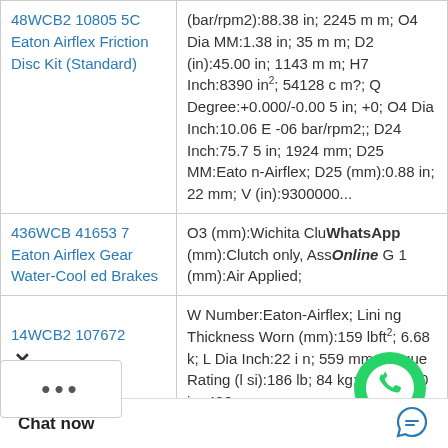| Product | Specifications |
| --- | --- |
| 48WCB2 108055C Eaton Airflex Friction Disc Kit (Standard) | (bar/rpm2):88.38 in; 2245 mm; O4 Dia MM:1.38 in; 35 mm; D2 (in):45.00 in; 1143 mm; H7 Inch:8390 in²; 54128 cm?; Q Degree:+0.000/-0.005 in; +0; O4 Dia Inch:10.06 E-06 bar/rpm2;; D24 Inch:75.75 in; 1924 mm; D25 MM:Eaton-Airflex; D25 (mm):0.88 in; 22 mm; V (in):9300000... |
| 436WCB 416537 Eaton Airflex Gear Water-Cooled Brakes | O3 (mm):Wichita Clutch; (mm):Clutch only, Assembly; G1 (mm):Air Applied; |
| 14WCB2 107672 | W Number:Eaton-Airflex; Lining Thickness Worn (mm):159 lbft²; 6.68 k; L Dia Inch:22 in; 559 mm; Torque Rating (lsi):186 lb; 84 kg; L (n):16.00 in; 406 m... |
[Figure (logo): WhatsApp icon with green phone logo and 'WhatsApp Online' label]
Chat now